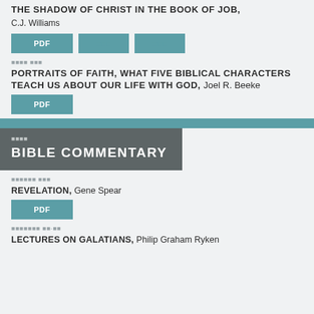THE SHADOW OF CHRIST IN THE BOOK OF JOB, C.J. Williams
[Figure (screenshot): Three teal buttons: PDF, and two icon buttons with symbol characters]
■■■■ ■■■
PORTRAITS OF FAITH, WHAT FIVE BIBLICAL CHARACTERS TEACH US ABOUT OUR LIFE WITH GOD, Joel R. Beeke
[Figure (screenshot): One teal PDF button]
BIBLE COMMENTARY
■■■■■■ ■■■
REVELATION, Gene Spear
[Figure (screenshot): One teal PDF button]
■■■■■■■ ■■·■■
LECTURES ON GALATIANS, Philip Graham Ryken